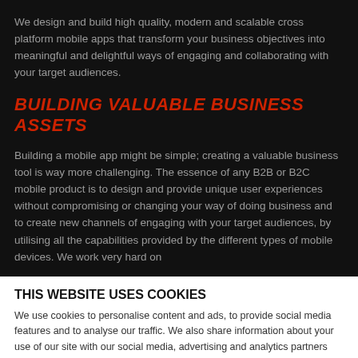We design and build high quality, modern and scalable cross platform mobile apps that transform your business objectives into meaningful and delightful ways of engaging and collaborating with your target audiences.
BUILDING VALUABLE BUSINESS ASSETS
Building a mobile app might be simple; creating a valuable business tool is way more challenging. The essence of any B2B or B2C mobile product is to design and provide unique user experiences without compromising or changing your way of doing business and to create new channels of engaging with your target audiences, by utilising all the capabilities provided by the different types of mobile devices. We work very hard on
THIS WEBSITE USES COOKIES
We use cookies to personalise content and ads, to provide social media features and to analyse our traffic. We also share information about your use of our site with our social media, advertising and analytics partners who may combine it with other information that you've provided to them or that they've collected from your use of their services.
Allow all cookies
Show details